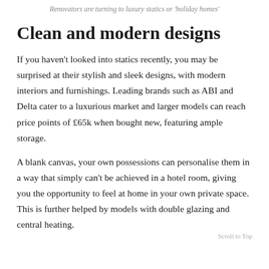Renovators are turning to luxury statics or 'holiday homes'
Clean and modern designs
If you haven't looked into statics recently, you may be surprised at their stylish and sleek designs, with modern interiors and furnishings. Leading brands such as ABI and Delta cater to a luxurious market and larger models can reach price points of £65k when bought new, featuring ample storage.
A blank canvas, your own possessions can personalise them in a way that simply can't be achieved in a hotel room, giving you the opportunity to feel at home in your own private space. This is further helped by models with double glazing and central heating.
Scroll to Top